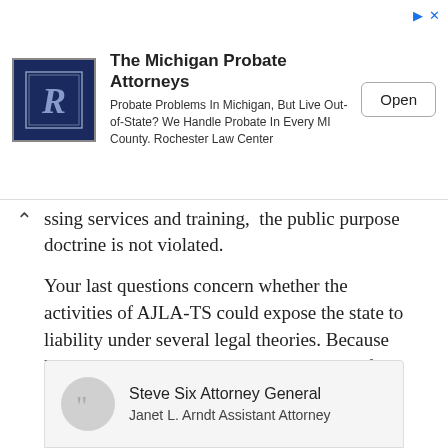[Figure (screenshot): Advertisement banner for The Michigan Probate Attorneys / Rochester Law Center showing logo, text, and Open button]
ssing services and training, the public purpose doctrine is not violated.
Your last questions concern whether the activities of AJLA-TS could expose the state to liability under several legal theories. Because liability ultimately depends upon the specific facts of each case, this office does not make such determinations.
Sincerely,
Steve Six Attorney General
Janet L. Arndt Assistant Attorney